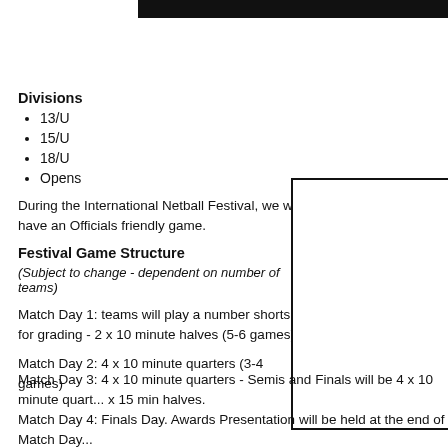Divisions
13/U
15/U
18/U
Opens
During the International Netball Festival, we will have an Officials friendly game.
Festival Game Structure
(Subject to change - dependent on number of teams)
Match Day 1: teams will play a number shorts for grading - 2 x 10 minute halves (5-6 games)
Match Day 2: 4 x 10 minute quarters (3-4 games)
Match Day 3: 4 x 10 minute quarters - Semis and Finals will be 4 x 10 minute quarters or 2 x 15 min halves.
Match Day 4: Finals Day. Awards Presentation will be held at the end of Match Day 4.